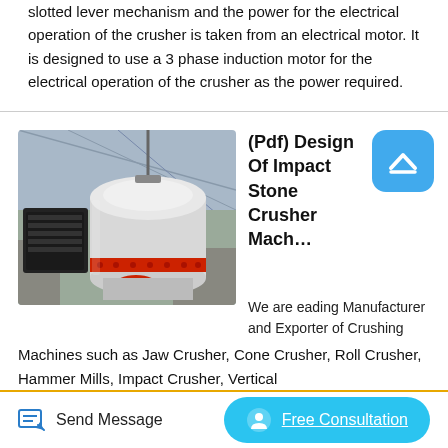slotted lever mechanism and the power for the electrical operation of the crusher is taken from an electrical motor. It is designed to use a 3 phase induction motor for the electrical operation of the crusher as the power required.
[Figure (photo): Photo of a large industrial cone crusher machine installed in a factory/warehouse setting. The machine is white and grey with a red flanged connection band, mounted on concrete supports with industrial equipment visible in the background.]
(Pdf) Design Of Impact Stone Crusher Mach...
We are eading Manufacturer and Exporter of Crushing Machines such as Jaw Crusher, Cone Crusher, Roll Crusher, Hammer Mills, Impact Crusher, Vertical
Send Message
Free Consultation